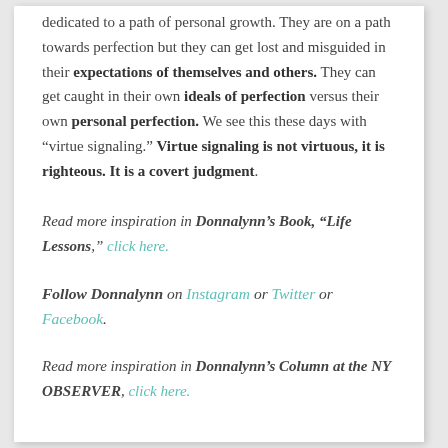dedicated to a path of personal growth. They are on a path towards perfection but they can get lost and misguided in their expectations of themselves and others. They can get caught in their own ideals of perfection versus their own personal perfection. We see this these days with “virtue signaling.” Virtue signaling is not virtuous, it is righteous. It is a covert judgment.
Read more inspiration in Donnalynn’s Book, “Life Lessons,” click here.
Follow Donnalynn on Instagram or Twitter or Facebook.
Read more inspiration in Donnalynn’s Column at the NY OBSERVER, click here.